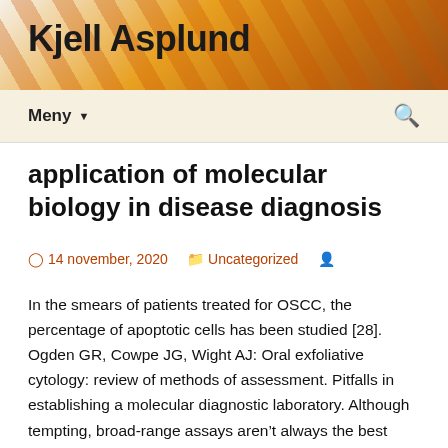Kjell Asplund
application of molecular biology in disease diagnosis
14 november, 2020   Uncategorized
In the smears of patients treated for OSCC, the percentage of apoptotic cells has been studied [28]. Ogden GR, Cowpe JG, Wight AJ: Oral exfoliative cytology: review of methods of assessment. Pitfalls in establishing a molecular diagnostic laboratory. Although tempting, broad-range assays aren't always the best option for detecting multiple bacteria in a single sample, so pathologists must work with clinical colleagues to select and interpret the most appropriate tests. Phot...